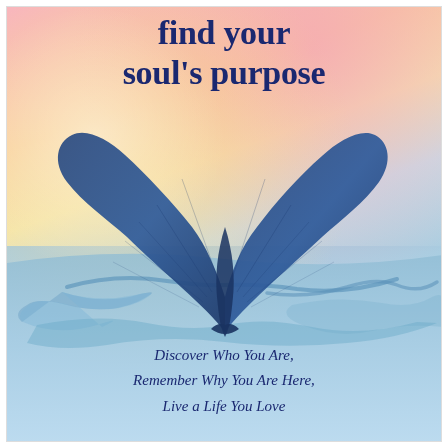find your soul's purpose
[Figure (illustration): Watercolor illustration of a whale tail (fluke) rising above stylized ocean waves. The tail is painted in deep navy/teal blue with visible streaks suggesting texture. Below it are two curved wave shapes in muted blue. The background is a watercolor wash blending pink (top right), yellow-orange (center), pale yellow (left center), transitioning to soft blue at the horizon line representing sky meeting sea.]
Discover Who You Are, Remember Why You Are Here, Live a Life You Love